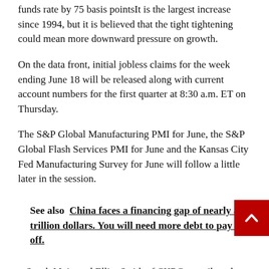funds rate by 75 basis pointsIt is the largest increase since 1994, but it is believed that the tight tightening could mean more downward pressure on growth.
On the data front, initial jobless claims for the week ending June 18 will be released along with current account numbers for the first quarter at 8:30 a.m. ET on Thursday.
The S&P Global Manufacturing PMI for June, the S&P Global Flash Services PMI for June and the Kansas City Fed Manufacturing Survey for June will follow a little later in the session.
See also  China faces a financing gap of nearly a trillion dollars. You will need more debt to pay it off.
– Sarah Main and Elliot Smith of CNBC contributed to this